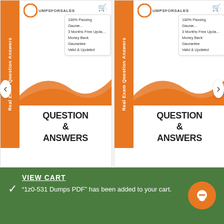[Figure (screenshot): Two product cards for exam dumps PDFs (1Z0-532 and 1z0-546) with orange vertical banners reading 'Real Exam Question Answers', logos, feature lists, orange wave graphic, and QUESTION & ANSWERS text.]
1Z0-532 Dumps PDF
$69.00
1z0-546 Dumps PDF
$69.00
VIEW CART
"1z0-531 Dumps PDF" has been added to your cart.